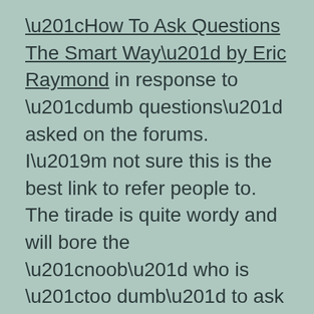“How To Ask Questions The Smart Way” by Eric Raymond in response to “dumb questions” asked on the forums. I’m not sure this is the best link to refer people to. The tirade is quite wordy and will bore the “noob” who is “too dumb” to ask questions well. It also assumes the people from whom you’re asking help are “hackers” and that you’re most likely contacting these hackers through a mailing list.
Times have changed in the Linux world. A huge percentage of new Linux users use Linux forums as a way to get help. I, as a newcomer two years ago, definitely found them easier to